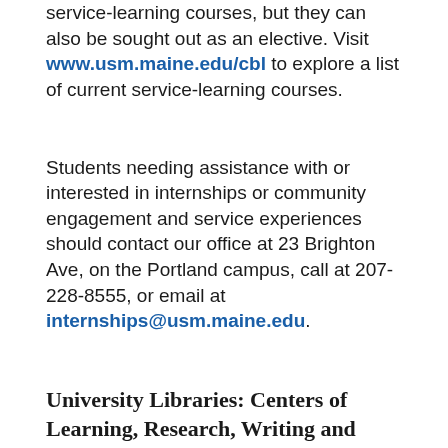service-learning courses, but they can also be sought out as an elective. Visit www.usm.maine.edu/cbl to explore a list of current service-learning courses.
Students needing assistance with or interested in internships or community engagement and service experiences should contact our office at 23 Brighton Ave, on the Portland campus, call at 207-228-8555, or email at internships@usm.maine.edu.
University Libraries: Centers of Learning, Research, Writing and Technology
The University Libraries provide a full range of